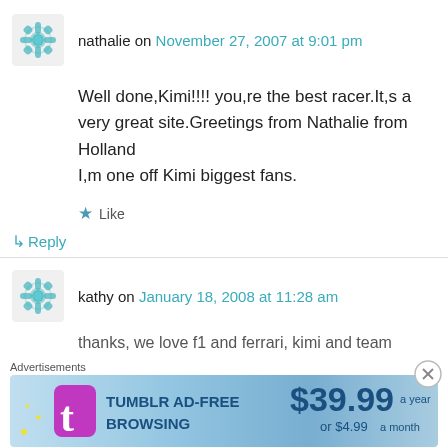nathalie on November 27, 2007 at 9:01 pm
Well done,Kimi!!!! you,re the best racer.It,s a very great site.Greetings from Nathalie from Holland
I,m one off Kimi biggest fans.
★ Like
↳ Reply
kathy on January 18, 2008 at 11:28 am
thanks, we love f1 and ferrari, kimi and team
Advertisements
[Figure (other): Tumblr Ad-Free Browsing advertisement banner: $39.99 a year or $4.99 a month]